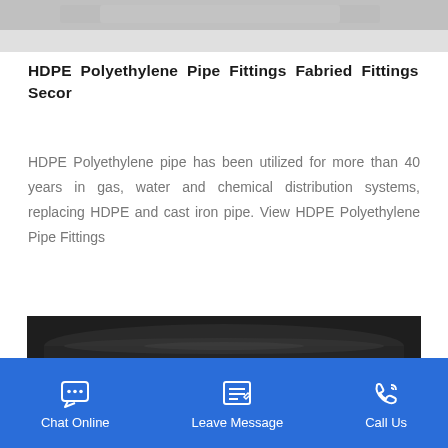[Figure (photo): Top partial image - grey/silver surface, partially visible]
HDPE Polyethylene Pipe Fittings Fabried Fittings Secor
HDPE Polyethylene pipe has been utilized for more than 40 years in gas, water and chemical distribution systems, replacing HDPE and cast iron pipe. View HDPE Polyethylene Pipe Fittings
[Figure (photo): Stack of large black HDPE polyethylene pipes stored outdoors]
Chat Online   Leave Message   Call Us